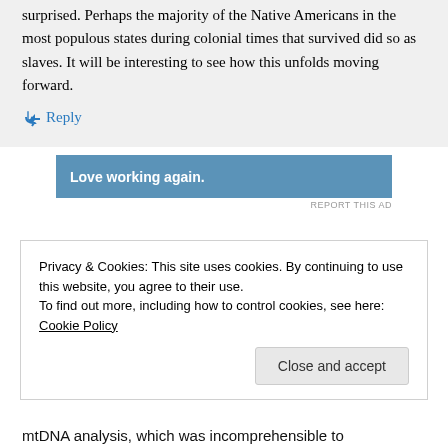surprised. Perhaps the majority of the Native Americans in the most populous states during colonial times that survived did so as slaves. It will be interesting to see how this unfolds moving forward.
↳ Reply
[Figure (other): Advertisement banner reading 'Love working again.' on a blue background with 'REPORT THIS AD' text below]
Privacy & Cookies: This site uses cookies. By continuing to use this website, you agree to their use. To find out more, including how to control cookies, see here: Cookie Policy
Close and accept
mtDNA analysis, which was incomprehensible to